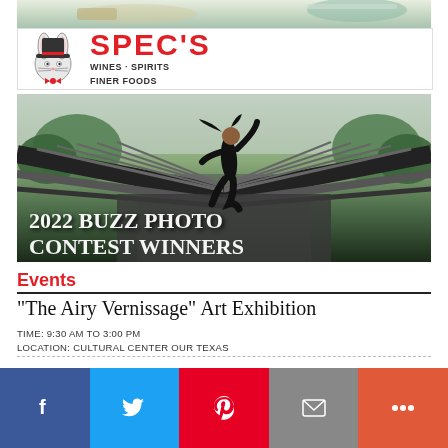[Figure (photo): Food/table setting photo at top of page (partial, cropped)]
[Figure (logo): Spec's logo: cartoon rabbit mascot with red text 'SPEC'S' and tagline 'WINES · SPIRITS FINER FOODS']
[Figure (photo): Photo of a woman dancing/jumping on a bridge with overlaid text '2022 BUZZ PHOTO CONTEST WINNERS']
Events
“The Airy Vernissage” Art Exhibition
TIME: 9:30 AM TO 3:00 PM
LOCATION: CULTURAL CENTER OUR TEXAS
[Figure (infographic): Social sharing bar with Facebook (blue), Twitter (light blue), Pinterest (red), Email (gray), and More (orange-red) buttons]